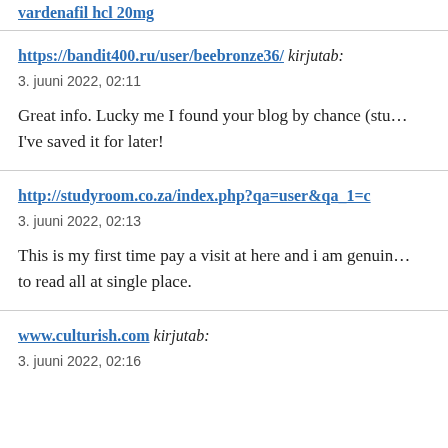vardenafil hcl 20mg (link)
https://bandit400.ru/user/beebronze36/ kirjutab:
3. juuni 2022, 02:11
Great info. Lucky me I found your blog by chance (stu… I've saved it for later!
http://studyroom.co.za/index.php?qa=user&qa_1=c
3. juuni 2022, 02:13
This is my first time pay a visit at here and i am genuin… to read all at single place.
www.culturish.com kirjutab:
3. juuni 2022, 02:16